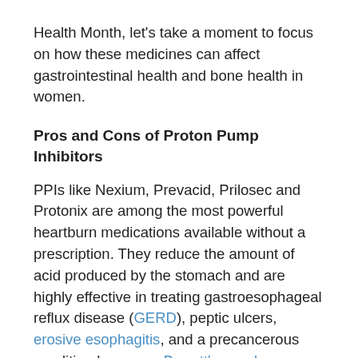Health Month, let's take a moment to focus on how these medicines can affect gastrointestinal health and bone health in women.
Pros and Cons of Proton Pump Inhibitors
PPIs like Nexium, Prevacid, Prilosec and Protonix are among the most powerful heartburn medications available without a prescription. They reduce the amount of acid produced by the stomach and are highly effective in treating gastroesophageal reflux disease (GERD), peptic ulcers, erosive esophagitis, and a precancerous condition known as Barrett's esophagus.
At first glance, PPIs seem to be the perfect